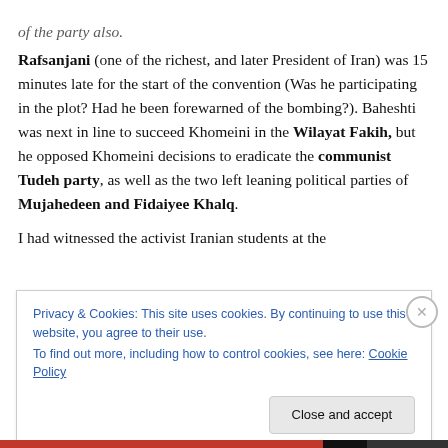of the party also.
Rafsanjani (one of the richest, and later President of Iran) was 15 minutes late for the start of the convention (Was he participating in the plot? Had he been forewarned of the bombing?). Baheshti was next in line to succeed Khomeini in the Wilayat Fakih, but he opposed Khomeini decisions to eradicate the communist Tudeh party, as well as the two left leaning political parties of Mujahedeen and Fidaiyee Khalq.
I had witnessed the activist Iranian students at the
Privacy & Cookies: This site uses cookies. By continuing to use this website, you agree to their use.
To find out more, including how to control cookies, see here: Cookie Policy